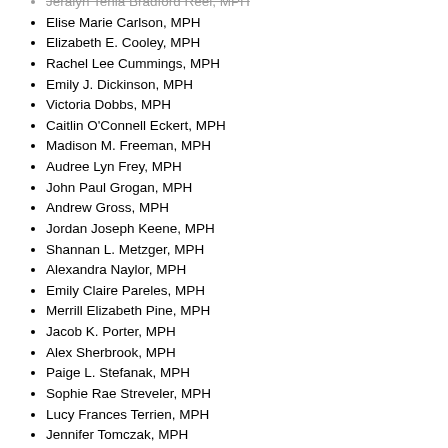Jeralyn Tenia Bradford Reel, MPH
Elise Marie Carlson, MPH
Elizabeth E. Cooley, MPH
Rachel Lee Cummings, MPH
Emily J. Dickinson, MPH
Victoria Dobbs, MPH
Caitlin O'Connell Eckert, MPH
Madison M. Freeman, MPH
Audree Lyn Frey, MPH
John Paul Grogan, MPH
Andrew Gross, MPH
Jordan Joseph Keene, MPH
Shannan L. Metzger, MPH
Alexandra Naylor, MPH
Emily Claire Pareles, MPH
Merrill Elizabeth Pine, MPH
Jacob K. Porter, MPH
Alex Sherbrook, MPH
Paige L. Stefanak, MPH
Sophie Rae Streveler, MPH
Lucy Frances Terrien, MPH
Jennifer Tomczak, MPH
Tuhina Venkatayogi, MPH